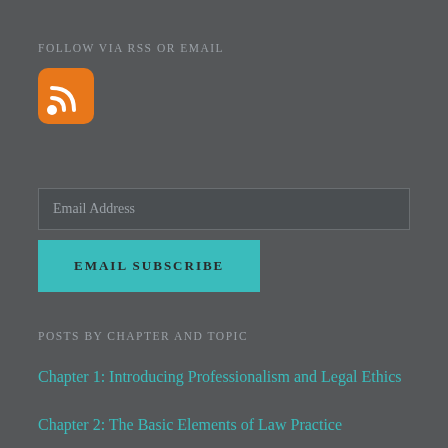FOLLOW VIA RSS OR EMAIL
[Figure (logo): RSS feed icon — orange rounded square with white WiFi/RSS symbol]
Email Address
EMAIL SUBSCRIBE
POSTS BY CHAPTER AND TOPIC
Chapter 1: Introducing Professionalism and Legal Ethics
Chapter 2: The Basic Elements of Law Practice